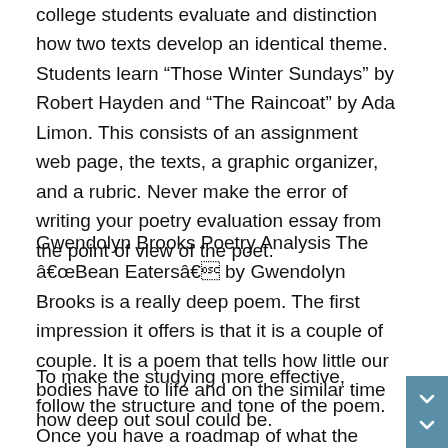college students evaluate and distinction how two texts develop an identical theme. Students learn “Those Winter Sundays” by Robert Hayden and “The Raincoat” by Ada Limon. This consists of an assignment web page, the texts, a graphic organizer, and a rubric. Never make the error of writing your poetry evaluation essay from the point of view of the poet.
Gwendolyn Brooks Poetry Analysis The â€œBean Eatersâ€� by Gwendolyn Brooks is a really deep poem. The first impression it offers is that it is a couple of couple. It is a poem that tells how little our bodies have to life and on the similar time how deep out soul could be.
To make the studying more effective, follow the structure and tone of the poem. Once you have a roadmap of what the poet wants to convey, look for details that make the